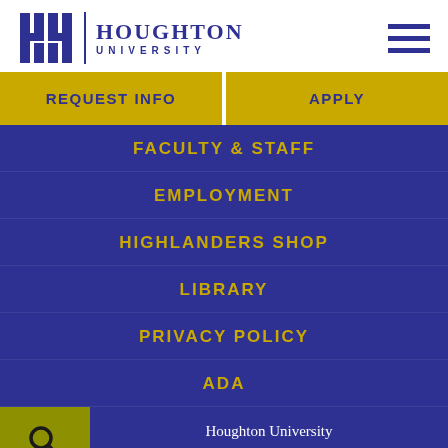[Figure (logo): Houghton University logo with stylized 'H' icon, vertical divider, and text 'Houghton University']
[Figure (other): Hamburger menu icon (three horizontal bars) in dark navy blue]
REQUEST INFO
APPLY
FACULTY & STAFF
EMPLOYMENT
HIGHLANDERS SHOP
LIBRARY
PRIVACY POLICY
ADA
[Figure (other): Search magnifying glass icon on olive/yellow-green background]
Houghton University
1 Willard Avenue